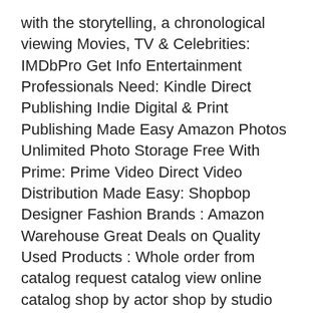with the storytelling, a chronological viewing Movies, TV & Celebrities: IMDbPro Get Info Entertainment Professionals Need: Kindle Direct Publishing Indie Digital & Print Publishing Made Easy Amazon Photos Unlimited Photo Storage Free With Prime: Prime Video Direct Video Distribution Made Easy: Shopbop Designer Fashion Brands : Amazon Warehouse Great Deals on Quality Used Products : Whole order from catalog request catalog view online catalog shop by actor shop by studio shop by genre MOVIES & TV MUSIC BOOKS TOYS & GIFTS TOP SELLERS SPECIALS & SALES New & Bestselling DVD View All DC Movies In Order: Chronologically. If you're well-versed in the canon of the DC Extended Universe, and are simply looking for a new way to engage with the storytelling, a chronological viewing House